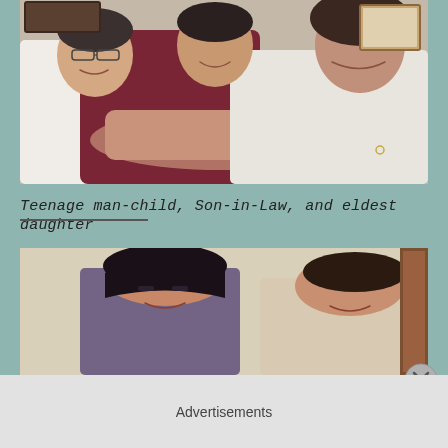[Figure (photo): Photo of three people: a teenage boy, a young man (son-in-law), and a young woman (eldest daughter). The man in the center has his arms wrapped around the woman from behind, and a third person is on the left.]
Teenage man-child, Son-in-Law, and eldest daughter
[Figure (photo): Photo of two women standing together, partially visible, cut off at the bottom of the page.]
Advertisements